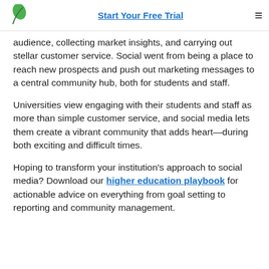Start Your Free Trial
audience, collecting market insights, and carrying out stellar customer service. Social went from being a place to reach new prospects and push out marketing messages to a central community hub, both for students and staff.
Universities view engaging with their students and staff as more than simple customer service, and social media lets them create a vibrant community that adds heart—during both exciting and difficult times.
Hoping to transform your institution’s approach to social media? Download our higher education playbook for actionable advice on everything from goal setting to reporting and community management.